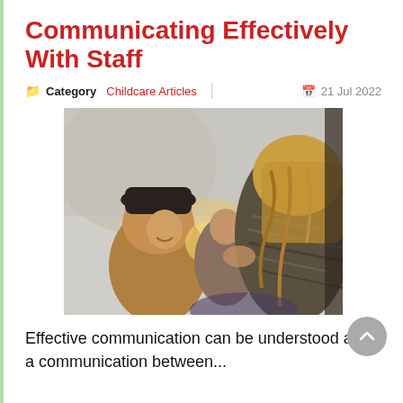Communicating Effectively With Staff
Category  Childcare Articles    21 Jul 2022
[Figure (photo): Three women laughing and talking together outdoors, one facing away from camera wearing a knit shawl with long blonde hair, two others visible in background]
Effective communication can be understood as a communication between...